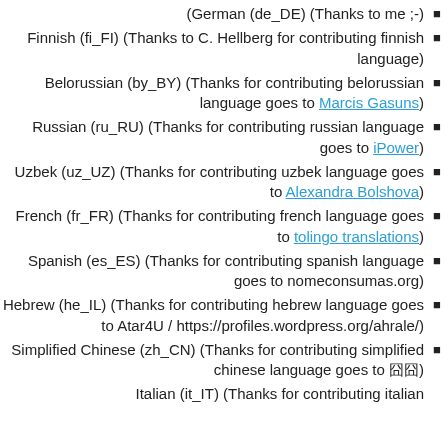(German (de_DE) (Thanks to me ;-)
Finnish (fi_FI) (Thanks to C. Hellberg for contributing finnish language)
Belorussian (by_BY) (Thanks for contributing belorussian language goes to Marcis Gasuns)
Russian (ru_RU) (Thanks for contributing russian language goes to iPower)
Uzbek (uz_UZ) (Thanks for contributing uzbek language goes to Alexandra Bolshova)
French (fr_FR) (Thanks for contributing french language goes to tolingo translations)
Spanish (es_ES) (Thanks for contributing spanish language goes to nomeconsumas.org)
Hebrew (he_IL) (Thanks for contributing hebrew language goes to Atar4U / https://profiles.wordpress.org/ahrale/)
Simplified Chinese (zh_CN) (Thanks for contributing simplified chinese language goes to 囧囧)
Italian (it_IT) (Thanks for contributing italian...